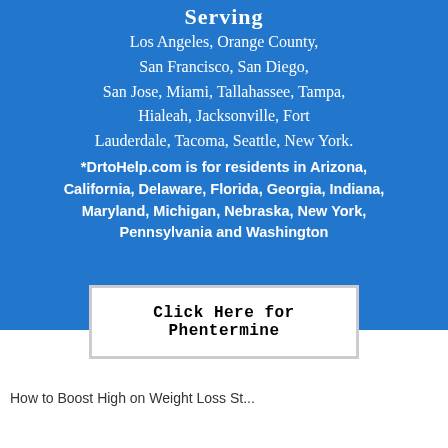Serving
Los Angeles, Orange County, San Francisco, San Diego, San Jose, Miami, Tallahassee, Tampa, Hialeah, Jacksonville, Fort Lauderdale, Tacoma, Seattle, New York.
*DrtoHelp.com is for residents in Arizona, California, Delaware, Florida, Georgia, Indiana, Maryland, Michigan, Nebraska, New York, Pennsylvania and Washington
Click Here for Phentermine
How to Boost High on Weight Loss St...